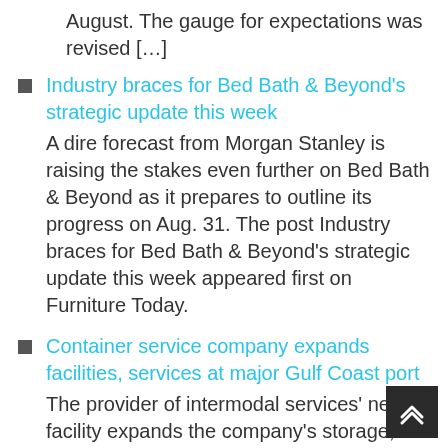August. The gauge for expectations was revised […]
Industry braces for Bed Bath & Beyond's strategic update this week — A dire forecast from Morgan Stanley is raising the stakes even further on Bed Bath & Beyond as it prepares to outline its progress on Aug. 31. The post Industry braces for Bed Bath & Beyond's strategic update this week appeared first on Furniture Today.
Container service company expands facilities, services at major Gulf Coast port — The provider of intermodal services' new facility expands the company's storage, distribution, repair and capacity services in the region. The post Container service company